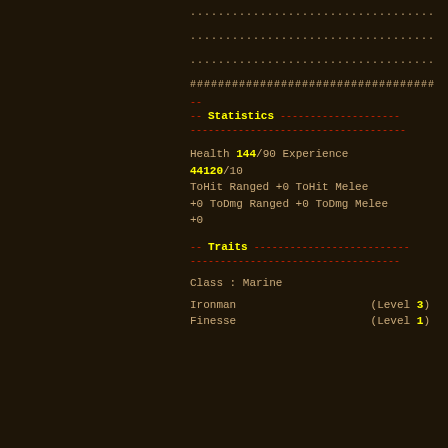................................
................................
................................
################################
-- Statistics --------------------
------------------------------------
Health 144/90   Experience 44120/10
ToHit Ranged +0  ToHit Melee +0  ToDmg Ranged +0  ToDmg Melee +0
-- Traits ------------------------
----------------------------------
Class : Marine
Ironman         (Level 3)
Finesse         (Level 1)